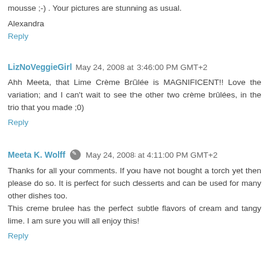mousse ;-) . Your pictures are stunning as usual.
Alexandra
Reply
LizNoVeggieGirl  May 24, 2008 at 3:46:00 PM GMT+2
Ahh Meeta, that Lime Crème Brûlée is MAGNIFICENT!! Love the variation; and I can't wait to see the other two crème brûlées, in the trio that you made ;0)
Reply
Meeta K. Wolff  May 24, 2008 at 4:11:00 PM GMT+2
Thanks for all your comments. If you have not bought a torch yet then please do so. It is perfect for such desserts and can be used for many other dishes too.
This creme brulee has the perfect subtle flavors of cream and tangy lime. I am sure you will all enjoy this!
Reply